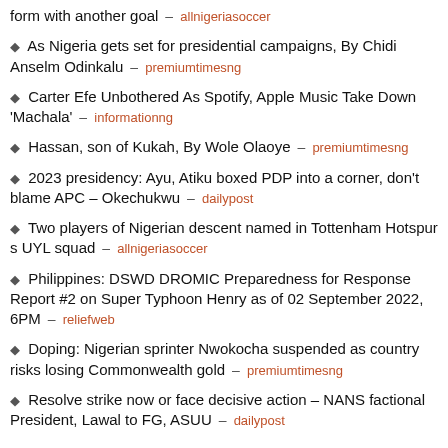form with another goal – allnigeriasoccer
As Nigeria gets set for presidential campaigns, By Chidi Anselm Odinkalu – premiumtimesng
Carter Efe Unbothered As Spotify, Apple Music Take Down 'Machala' – informationng
Hassan, son of Kukah, By Wole Olaoye – premiumtimesng
2023 presidency: Ayu, Atiku boxed PDP into a corner, don't blame APC – Okechukwu – dailypost
Two players of Nigerian descent named in Tottenham Hotspur s UYL squad – allnigeriasoccer
Philippines: DSWD DROMIC Preparedness for Response Report #2 on Super Typhoon Henry as of 02 September 2022, 6PM – reliefweb
Doping: Nigerian sprinter Nwokocha suspended as country risks losing Commonwealth gold – premiumtimesng
Resolve strike now or face decisive action – NANS factional President, Lawal to FG, ASUU – dailypost